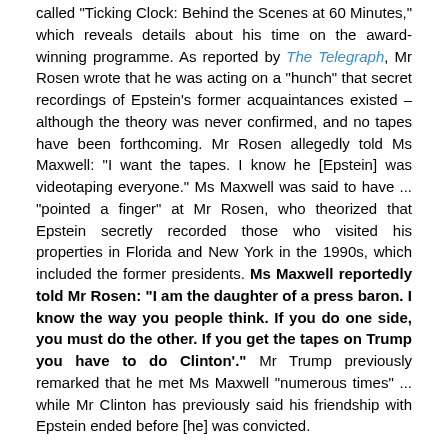called "Ticking Clock: Behind the Scenes at 60 Minutes," which reveals details about his time on the award-winning programme. As reported by The Telegraph, Mr Rosen wrote that he was acting on a "hunch" that secret recordings of Epstein's former acquaintances existed – although the theory was never confirmed, and no tapes have been forthcoming. Mr Rosen allegedly told Ms Maxwell: "I want the tapes. I know he [Epstein] was videotaping everyone." Ms Maxwell was said to have ... "pointed a finger" at Mr Rosen, who theorized that Epstein secretly recorded those who visited his properties in Florida and New York in the 1990s, which included the former presidents. Ms Maxwell reportedly told Mr Rosen: "I am the daughter of a press baron. I know the way you people think. If you do one side, you must do the other. If you get the tapes on Trump you have to do Clinton'." Mr Trump previously remarked that he met Ms Maxwell "numerous times" ... while Mr Clinton has previously said his friendship with Epstein ended before [he] was convicted.
Note: For more along these lines, see concise summaries of deeply revealing news articles on Jeffrey Epstein's child sex ring from reliable major media sources.